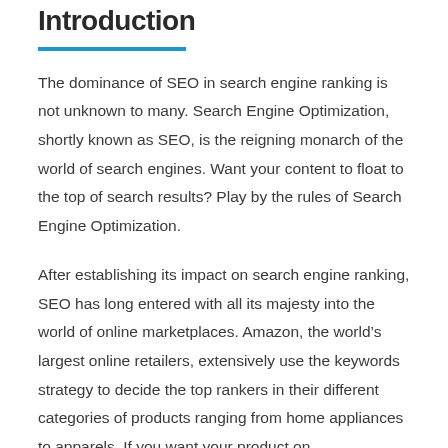Introduction
The dominance of SEO in search engine ranking is not unknown to many. Search Engine Optimization, shortly known as SEO, is the reigning monarch of the world of search engines. Want your content to float to the top of search results? Play by the rules of Search Engine Optimization.
After establishing its impact on search engine ranking, SEO has long entered with all its majesty into the world of online marketplaces. Amazon, the world’s largest online retailers, extensively use the keywords strategy to decide the top rankers in their different categories of products ranging from home appliances to apparels. If you want your product on